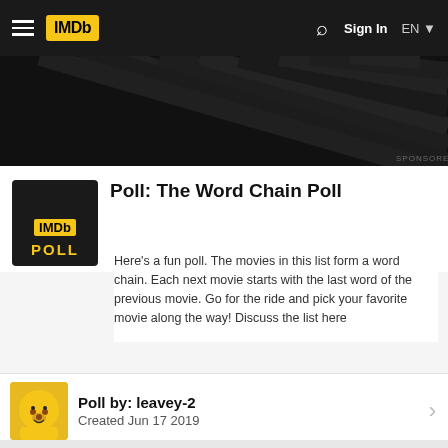IMDb | Sign In | EN
[Figure (other): Ad banner with dark background and diagonal stripe pattern, labeled SPONSORED]
Poll: The Word Chain Poll
Here's a fun poll. The movies in this list form a word chain. Each next movie starts with the last word of the previous movie. Go for the ride and pick your favorite movie along the way! Discuss the list here
Poll by: leavey-2
Created Jun 17 2019
Vote:
Sleeping with the Enemy (1991)